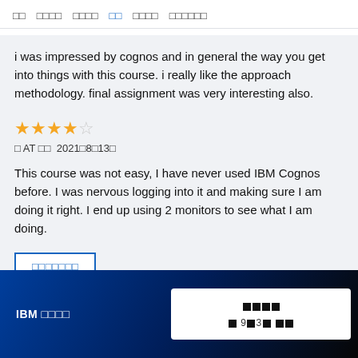□□  □□□□  □□□□  □□  □□□□  □□□□□□
i was impressed by cognos and in general the way you get into things with this course. i really like the approach methodology. final assignment was very interesting also.
[Figure (other): 4 out of 5 stars rating]
□ AT □□  2021□8□13□
This course was not easy, I have never used IBM Cognos before. I was nervous logging into it and making sure I am doing it right. I end up using 2 monitors to see what I am doing.
□□□□□□□
IBM □□□□  □□□□ □ 9□3□ □□